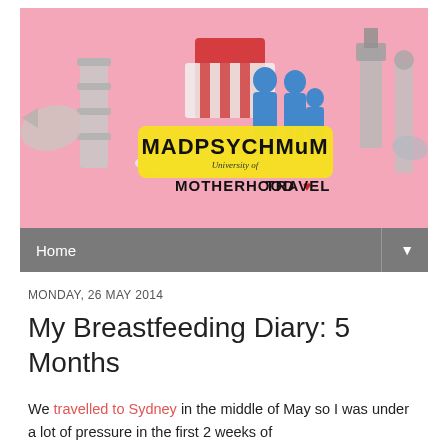[Figure (illustration): MadPsychMum blog banner with pink background, world landmarks collage, and text 'MADPSYCHMuM University of Motherhood Travel']
Home ▼
MONDAY, 26 MAY 2014
My Breastfeeding Diary: 5 Months
We travelled to Sydney in the middle of May so I was under a lot of pressure in the first 2 weeks of